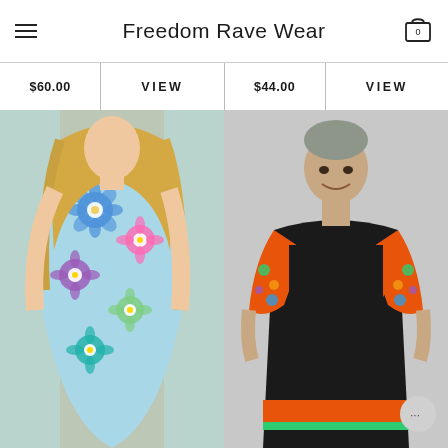Freedom Rave Wear
$60.00  VIEW  $44.00  VIEW
[Figure (photo): Woman wearing a colorful floral bodycon dress with blue, purple, pink, and green daisy print]
[Figure (photo): Man wearing a black t-shirt with multicolor psychedelic print sleeves and pocket]